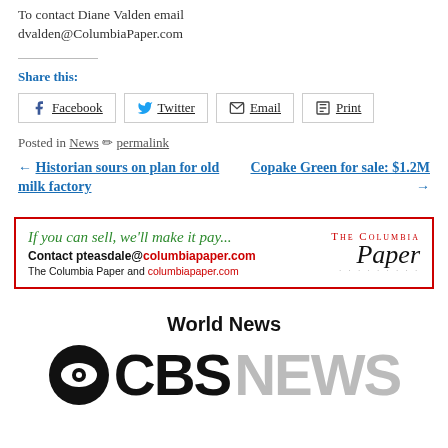To contact Diane Valden email dvalden@ColumbiaPaper.com
Share this:
Facebook  Twitter  Email  Print
Posted in News  permalink
← Historian sours on plan for old milk factory    Copake Green for sale: $1.2M →
[Figure (infographic): Advertisement for The Columbia Paper: 'If you can sell, we'll make it pay...' with contact pteasdale@columbiapaper.com, red border, Columbia Paper logo]
World News
[Figure (logo): CBS News logo with eye symbol and large CBS NEWS text]